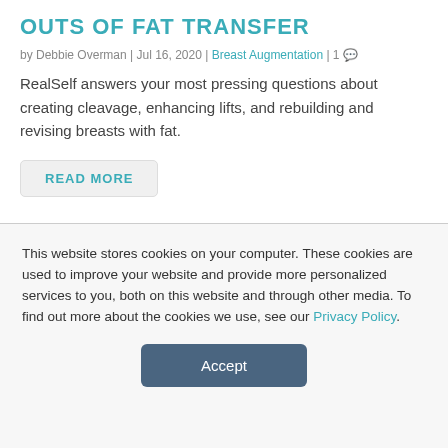OUTS OF FAT TRANSFER
by Debbie Overman | Jul 16, 2020 | Breast Augmentation | 1
RealSelf answers your most pressing questions about creating cleavage, enhancing lifts, and rebuilding and revising breasts with fat.
READ MORE
[Figure (photo): A strip showing a white painted brick wall texture]
This website stores cookies on your computer. These cookies are used to improve your website and provide more personalized services to you, both on this website and through other media. To find out more about the cookies we use, see our Privacy Policy.
Accept